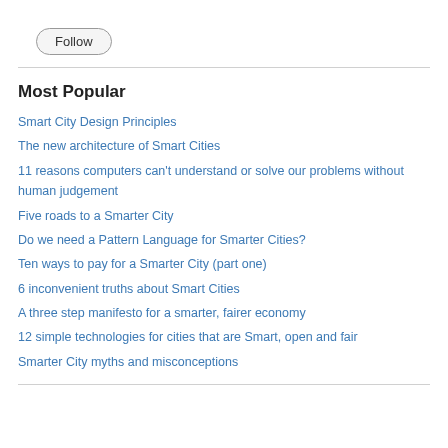[Figure (other): Follow button with rounded rectangle border]
Most Popular
Smart City Design Principles
The new architecture of Smart Cities
11 reasons computers can't understand or solve our problems without human judgement
Five roads to a Smarter City
Do we need a Pattern Language for Smarter Cities?
Ten ways to pay for a Smarter City (part one)
6 inconvenient truths about Smart Cities
A three step manifesto for a smarter, fairer economy
12 simple technologies for cities that are Smart, open and fair
Smarter City myths and misconceptions